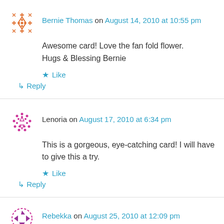Bernie Thomas on August 14, 2010 at 10:55 pm
Awesome card! Love the fan fold flower.
Hugs & Blessing Bernie
Like
Reply
Lenoria on August 17, 2010 at 6:34 pm
This is a gorgeous, eye-catching card! I will have to give this a try.
Like
Reply
Rebekka on August 25, 2010 at 12:09 pm